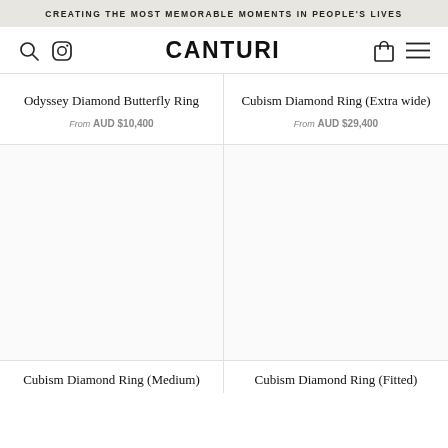CREATING THE MOST MEMORABLE MOMENTS IN PEOPLE'S LIVES
[Figure (screenshot): Canturi jewellery website navigation bar with search icon, Instagram icon, CANTURI logo, shopping bag icon, and hamburger menu icon]
Odyssey Diamond Butterfly Ring
From AUD $10,400
Cubism Diamond Ring (Extra wide)
From AUD $29,400
[Figure (photo): Product image area for Cubism Diamond Ring (Medium) - white/empty]
[Figure (photo): Product image area for Cubism Diamond Ring (Fitted) - white/empty]
Cubism Diamond Ring (Medium)
Cubism Diamond Ring (Fitted)